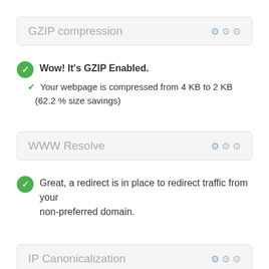GZIP compression
Wow! It's GZIP Enabled.
Your webpage is compressed from 4 KB to 2 KB (62.2 % size savings)
WWW Resolve
Great, a redirect is in place to redirect traffic from your non-preferred domain.
IP Canonicalization
No, your domain IP 194.28.19.217 does not redirect to